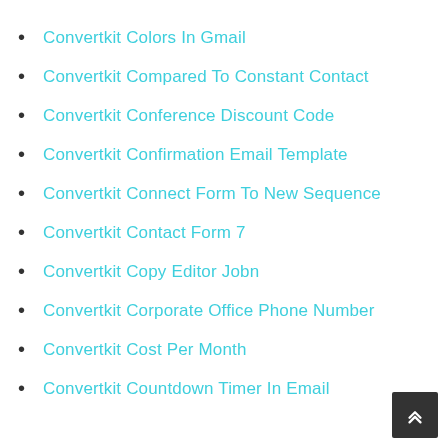Convertkit Colors In Gmail
Convertkit Compared To Constant Contact
Convertkit Conference Discount Code
Convertkit Confirmation Email Template
Convertkit Connect Form To New Sequence
Convertkit Contact Form 7
Convertkit Copy Editor Jobn
Convertkit Corporate Office Phone Number
Convertkit Cost Per Month
Convertkit Countdown Timer In Email